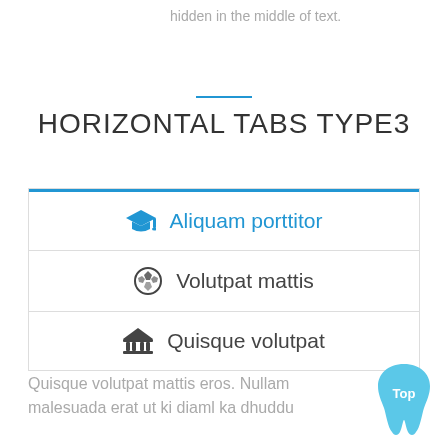hidden in the middle of text.
HORIZONTAL TABS TYPE3
🎓 Aliquam porttitor
⚽ Volutpat mattis
🏛 Quisque volutpat
Quisque volutpat mattis eros. Nullam malesuada erat ut ki diaml ka dhuddu
[Figure (logo): Tooth-shaped badge with 'Top' text in blue and white]